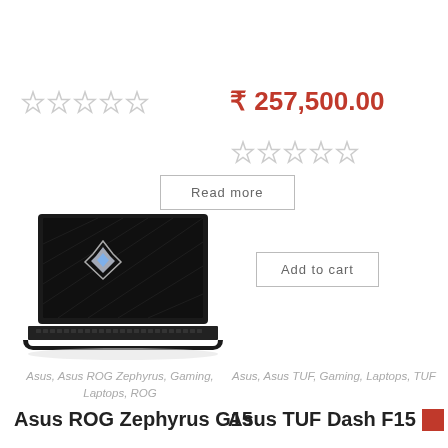[Figure (other): Five empty star rating icons (grey) for left product]
₨ 257,500.00
[Figure (other): Five empty star rating icons (grey) for right product]
Read more
Add to cart
[Figure (photo): Asus ROG Zephyrus G15 laptop photo with ROG logo on dark screen, black keyboard]
Asus, Asus ROG Zephyrus, Gaming, Laptops, ROG
Asus ROG Zephyrus G15
Asus, Asus TUF, Gaming, Laptops, TUF
Asus TUF Dash F15